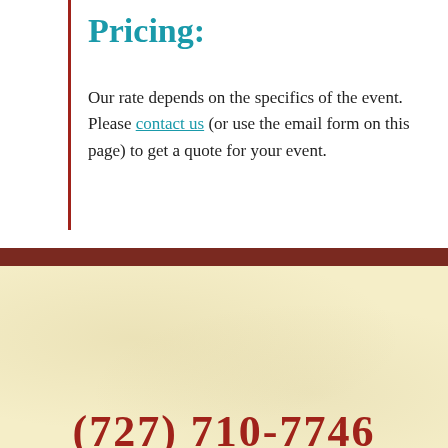Pricing:
Our rate depends on the specifics of the event. Please contact us (or use the email form on this page) to get a quote for your event.
JOIN OUR VIRTUAL STUDIO
(727) 710-7746